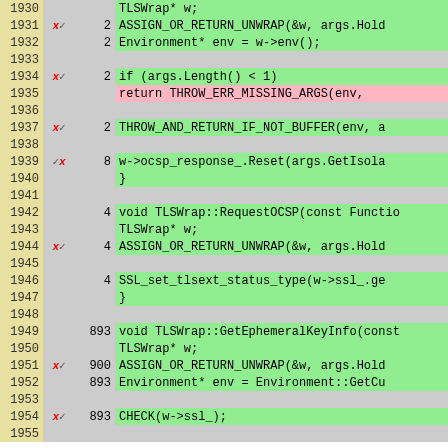[Figure (screenshot): Code coverage view showing C++ source lines 1930-1955 with line numbers, coverage markers (x/checkmark), hit counts, and highlighted code. Green rows indicate covered lines, pink indicates uncovered/missing, gray indicates non-executable lines.]